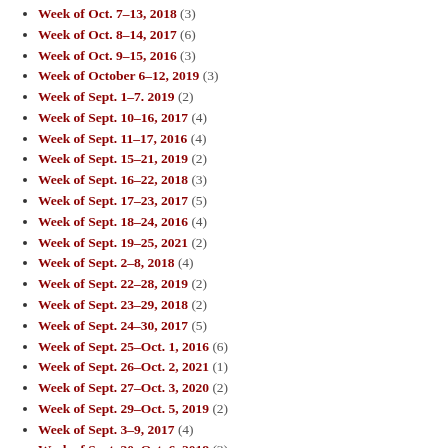Week of Oct. 7–13, 2018 (3)
Week of Oct. 8–14, 2017 (6)
Week of Oct. 9–15, 2016 (3)
Week of October 6–12, 2019 (3)
Week of Sept. 1–7. 2019 (2)
Week of Sept. 10–16, 2017 (4)
Week of Sept. 11–17, 2016 (4)
Week of Sept. 15–21, 2019 (2)
Week of Sept. 16–22, 2018 (3)
Week of Sept. 17–23, 2017 (5)
Week of Sept. 18–24, 2016 (4)
Week of Sept. 19–25, 2021 (2)
Week of Sept. 2–8, 2018 (4)
Week of Sept. 22–28, 2019 (2)
Week of Sept. 23–29, 2018 (2)
Week of Sept. 24–30, 2017 (5)
Week of Sept. 25–Oct. 1, 2016 (6)
Week of Sept. 26–Oct. 2, 2021 (1)
Week of Sept. 27–Oct. 3, 2020 (2)
Week of Sept. 29–Oct. 5, 2019 (2)
Week of Sept. 3–9, 2017 (4)
Week of Sept. 30–Oct. 6, 2018 (3)
Week of Sept. 4–10, 2016 (4)
Week of Sept. 5–11, 2021 (2)
Week of Sept. 8–14, 2019 (2)